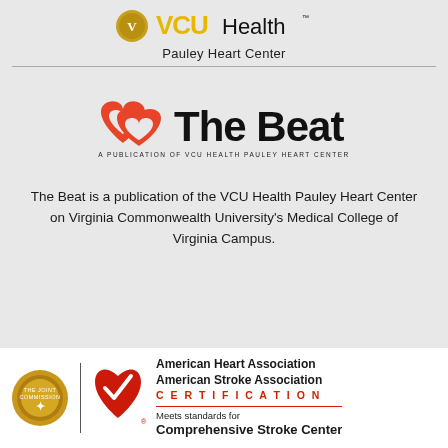[Figure (logo): VCU Health logo with seal and yellow/gold VCU text and Health wordmark]
Pauley Heart Center
[Figure (logo): The Beat logo — red interlinked heart shape and bold 'The Beat' text with subtitle 'A PUBLICATION OF VCU HEALTH PAULEY HEART CENTER']
The Beat is a publication of the VCU Health Pauley Heart Center on Virginia Commonwealth University's Medical College of Virginia Campus.
[Figure (logo): American Heart Association / American Stroke Association Certification badge showing Joint Commission gold seal, AHA red heart with checkmark, and text: American Heart Association, American Stroke Association, CERTIFICATION, Meets standards for, Comprehensive Stroke Center]